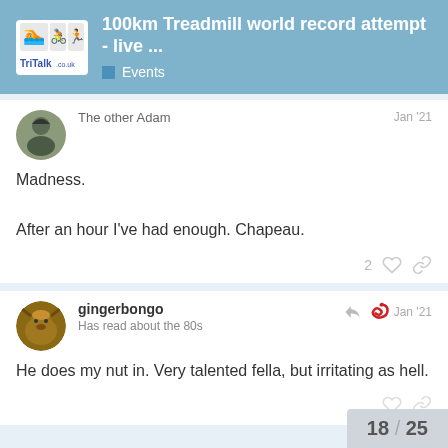100km Treadmill world record attempt - live ... | Events
The other Adam
Madness.

After an hour I've had enough. Chapeau.
gingerbongo
Has read about the 80s
He does my nut in. Very talented fella, but irritating as hell.
18 / 25